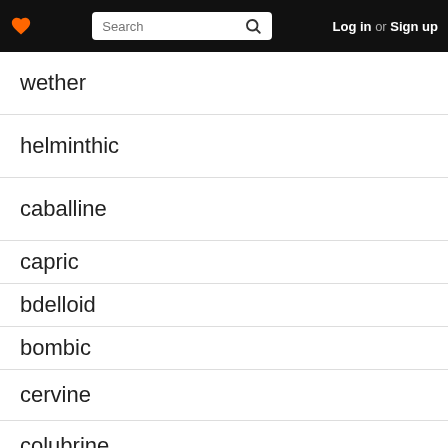Search Log in or Sign up
wether
helminthic
caballine
capric
bdelloid
bombic
cervine
colubrine
corvine
didine
formic